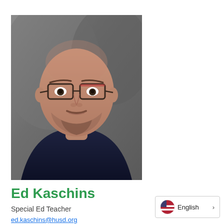[Figure (photo): Professional headshot of Ed Kaschins, a bald middle-aged man with glasses and a goatee, wearing a dark navy shirt, photographed against a gray background]
Ed Kaschins
Special Ed Teacher
ed.kaschins@husd.org